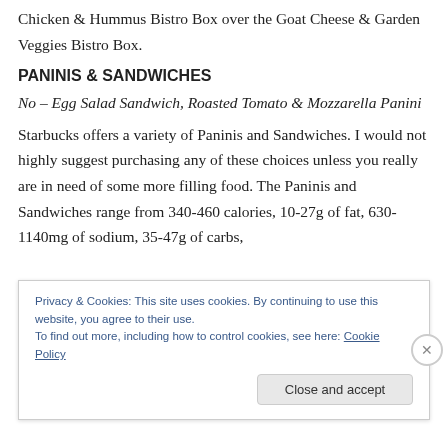Chicken & Hummus Bistro Box over the Goat Cheese & Garden Veggies Bistro Box.
PANINIS & SANDWICHES
No – Egg Salad Sandwich, Roasted Tomato & Mozzarella Panini
Starbucks offers a variety of Paninis and Sandwiches. I would not highly suggest purchasing any of these choices unless you really are in need of some more filling food. The Paninis and Sandwiches range from 340-460 calories, 10-27g of fat, 630-1140mg of sodium, 35-47g of carbs,
Privacy & Cookies: This site uses cookies. By continuing to use this website, you agree to their use.
To find out more, including how to control cookies, see here: Cookie Policy